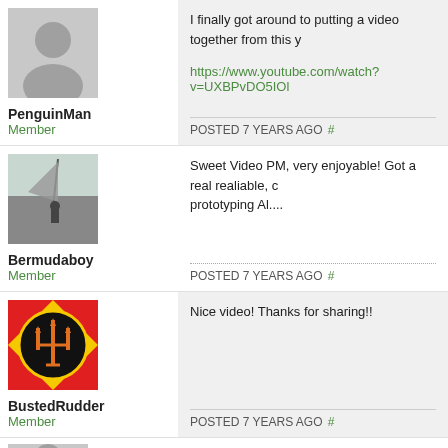[Figure (other): Grey placeholder avatar for PenguinMan]
PenguinMan
Member
I finally got around to putting a video together from this y
https://www.youtube.com/watch?v=UXBPvDO5IOl
POSTED 7 YEARS AGO #
[Figure (photo): Black and white photo of person on water (windsurfer/sailboat)]
Bermudaboy
Member
Sweet Video PM, very enjoyable!  Got a real realiable, c prototyping  Al....
POSTED 7 YEARS AGO #
[Figure (logo): BustedRudder avatar: red/yellow background with black circle containing a trident symbol in orange]
BustedRudder
Member
Nice video! Thanks for sharing!!
POSTED 7 YEARS AGO #
[Figure (other): Grey placeholder avatar (partial, bottom of page)]
Good stuff PenguinMan! Summed up the trip nicely. Tha